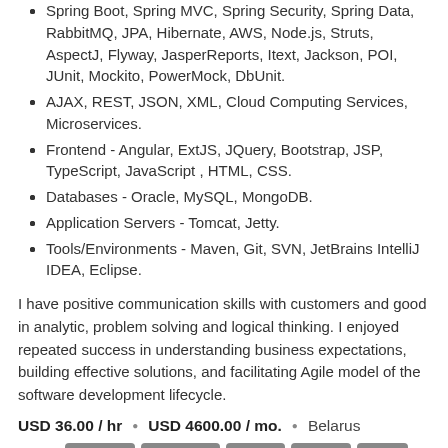Spring Boot, Spring MVC, Spring Security, Spring Data, RabbitMQ, JPA, Hibernate, AWS, Node.js, Struts, AspectJ, Flyway, JasperReports, Itext, Jackson, POI, JUnit, Mockito, PowerMock, DbUnit.
AJAX, REST, JSON, XML, Cloud Computing Services, Microservices.
Frontend - Angular, ExtJS, JQuery, Bootstrap, JSP, TypeScript, JavaScript , HTML, CSS.
Databases - Oracle, MySQL, MongoDB.
Application Servers - Tomcat, Jetty.
Tools/Environments - Maven, Git, SVN, JetBrains IntelliJ IDEA, Eclipse.
I have positive communication skills with customers and good in analytic, problem solving and logical thinking. I enjoyed repeated success in understanding business expectations, building effective solutions, and facilitating Agile model of the software development lifecycle.
USD 36.00 / hr   •   USD 4600.00 / mo.   •   Belarus
Skills: Java EE   Hibernate   Ext JS   jQuery   JUnit   Angular 6   Spring Boot   Relational Databases   Node.js